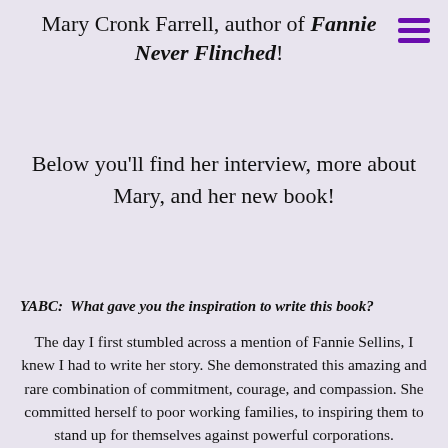Mary Cronk Farrell, author of Fannie Never Flinched!
Below you'll find her interview, more about Mary, and her new book!
YABC:  What gave you the inspiration to write this book?
The day I first stumbled across a mention of Fannie Sellins, I knew I had to write her story. She demonstrated this amazing and rare combination of commitment, courage, and compassion. She committed herself to poor working families, to inspiring them to stand up for themselves against powerful corporations.